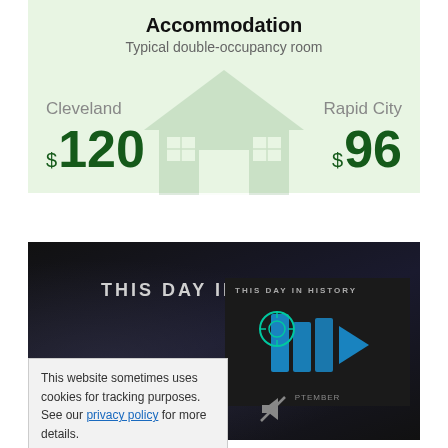Accommodation
Typical double-occupancy room
[Figure (infographic): Accommodation cost comparison infographic. Green background panel showing Cleveland at $120 and Rapid City at $96, with a faint house watermark in the center.]
[Figure (screenshot): Dark themed 'This Day In History' video thumbnail page with overlaid video cards and a cookie consent notice.]
This website sometimes uses cookies for tracking purposes. See our privacy policy for more details.